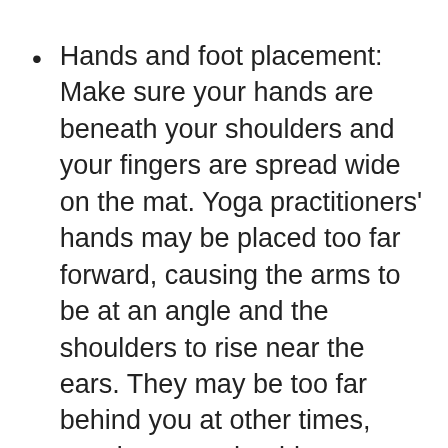Hands and foot placement: Make sure your hands are beneath your shoulders and your fingers are spread wide on the mat. Yoga practitioners' hands may be placed too far forward, causing the arms to be at an angle and the shoulders to rise near the ears. They may be too far behind you at other times, causing your shoulders to go over your wrists. Maintain a hips-width space between your feet and powerful legs. Maintain your hands exactly beneath your shoulders to keep your arms straight and your upper body powerful.